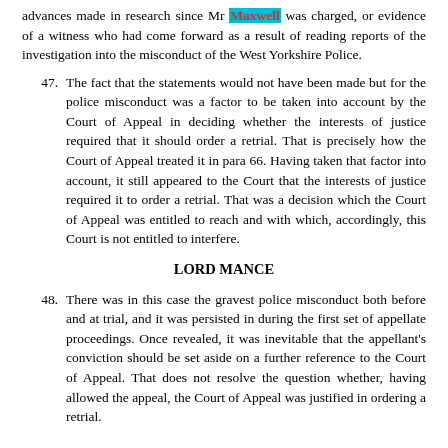advances made in research since Mr Maxwell was charged, or evidence of a witness who had come forward as a result of reading reports of the investigation into the misconduct of the West Yorkshire Police.
47. The fact that the statements would not have been made but for the police misconduct was a factor to be taken into account by the Court of Appeal in deciding whether the interests of justice required that it should order a retrial. That is precisely how the Court of Appeal treated it in para 66. Having taken that factor into account, it still appeared to the Court that the interests of justice required it to order a retrial. That was a decision which the Court of Appeal was entitled to reach and with which, accordingly, this Court is not entitled to interfere.
LORD MANCE
48. There was in this case the gravest police misconduct both before and at trial, and it was persisted in during the first set of appellate proceedings. Once revealed, it was inevitable that the appellant's conviction should be set aside on a further reference to the Court of Appeal. That does not resolve the question whether, having allowed the appeal, the Court of Appeal was justified in ordering a retrial.